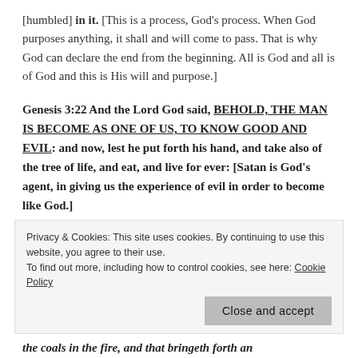[humbled] in it. [This is a process, God's process. When God purposes anything, it shall and will come to pass. That is why God can declare the end from the beginning. All is God and all is of God and this is His will and purpose.]
Genesis 3:22 And the Lord God said, BEHOLD, THE MAN IS BECOME AS ONE OF US, TO KNOW GOOD AND EVIL: and now, lest he put forth his hand, and take also of the tree of life, and eat, and live for ever: [Satan is God's agent, in giving us the experience of evil in order to become like God.]
Privacy & Cookies: This site uses cookies. By continuing to use this website, you agree to their use. To find out more, including how to control cookies, see here: Cookie Policy
Close and accept
the coals in the fire, and that bringeth forth an